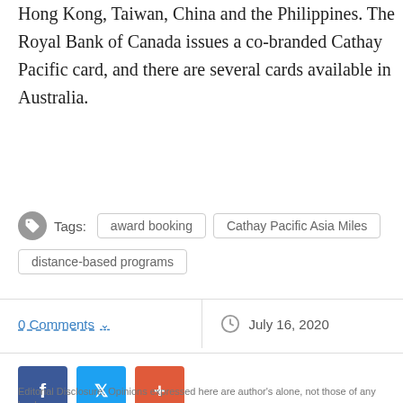Hong Kong, Taiwan, China and the Philippines. The Royal Bank of Canada issues a co-branded Cathay Pacific card, and there are several cards available in Australia.
Tags: award booking   Cathay Pacific Asia Miles   distance-based programs
0 Comments   July 16, 2020
[Figure (infographic): Social share buttons: Facebook (blue), Twitter (light blue), Plus/share (orange-red)]
Editorial Disclosure: Opinions expressed here are author's alone, not those of any bank